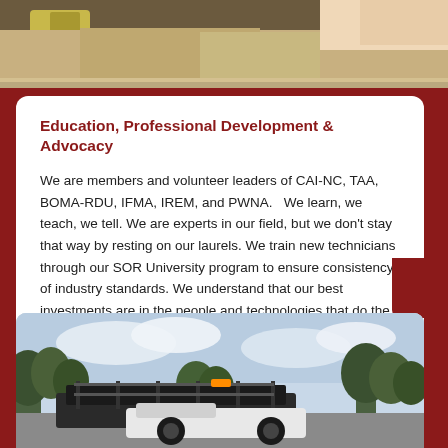[Figure (photo): Top portion of photo showing person seated, wearing khaki pants, partial view of upper body]
Education, Professional Development & Advocacy
We are members and volunteer leaders of CAI-NC, TAA, BOMA-RDU, IFMA, IREM, and PWNA.   We learn, we teach, we tell. We are experts in our field, but we don't stay that way by resting on our laurels. We train new technicians through our SOR University program to ensure consistency of industry standards. We understand that our best investments are in the people and technologies that do the work every day. As industry leaders, we want to set the bar high for service and excellence and part of that commitment is advocating for the needs and issues facing our industry today.
[Figure (photo): Bottom photo showing service vehicles/truck with trees and cloudy sky in background]